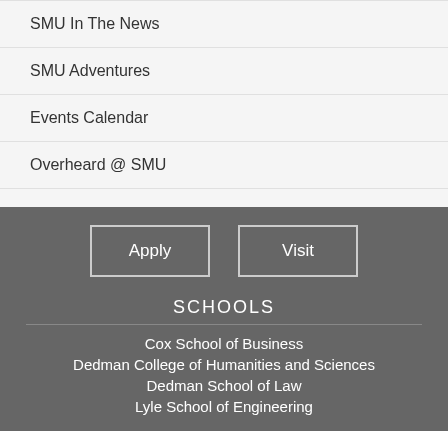SMU In The News
SMU Adventures
Events Calendar
Overheard @ SMU
Apply
Visit
SCHOOLS
Cox School of Business
Dedman College of Humanities and Sciences
Dedman School of Law
Lyle School of Engineering